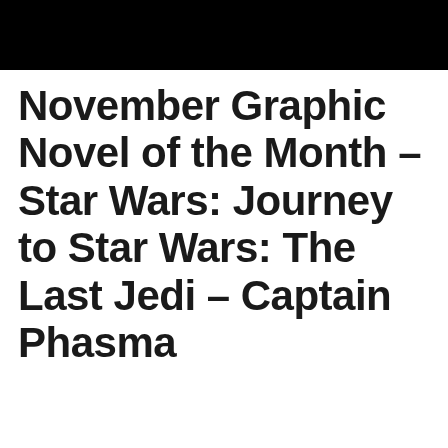[Figure (photo): Black rectangular banner/header image at top of page]
November Graphic Novel of the Month – Star Wars: Journey to Star Wars: The Last Jedi – Captain Phasma